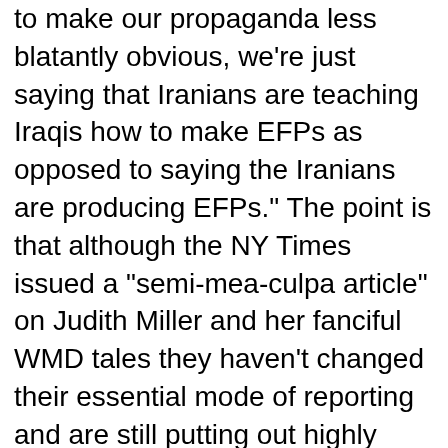to make our propaganda less blatantly obvious, we're just saying that Iranians are teaching Iraqis how to make EFPs as opposed to saying the Iranians are producing EFPs." The point is that although the NY Times issued a "semi-mea-culpa article" on Judith Miller and her fanciful WMD tales they haven't changed their essential mode of reporting and are still putting out highly questionable stories that seem designed to lead to war.
Only time will tell if Harris' reporting in the Politico will change for the better. All we have now is a "semi-mea-culpa article" that may or may not lead to any changes in how they cover the issues.
opednews.com
PN3(Ret), USN, 1991-2001. Done a number of clerical-type jobs. Computer "power user," my desktop is a Windows machine, but my laptop is an Ubuntu Linux. Articles usually cross-posted at http://www.prawnblog.blogspot.com Personal details